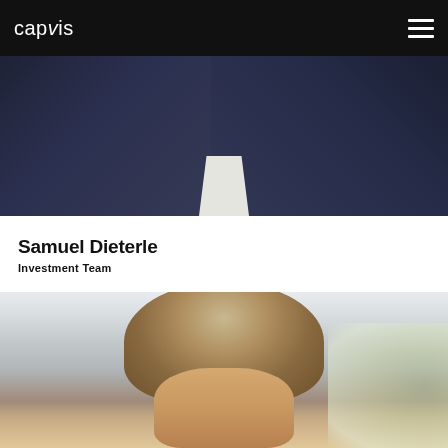capvis
[Figure (photo): Partial photo of Samuel Dieterle in a dark suit with white shirt collar visible, cropped at the top]
Samuel Dieterle
Investment Team
[Figure (photo): Portrait photo of a woman with long blonde/highlighted hair, looking directly at camera, light background with soft greenery]